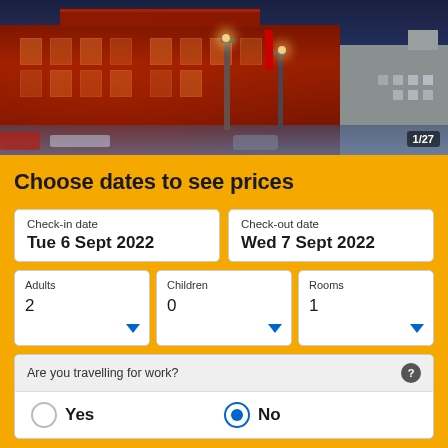[Figure (photo): Nighttime cityscape photo showing illuminated historic brick buildings with red lighting, street scene with cars, and a clock tower building in the background. Badge showing '1/27' in bottom right corner.]
Choose dates to see prices
Check-in date: Tue 6 Sept 2022
Check-out date: Wed 7 Sept 2022
Adults: 2, Children: 0, Rooms: 1
Are you travelling for work? Yes / No (No selected)